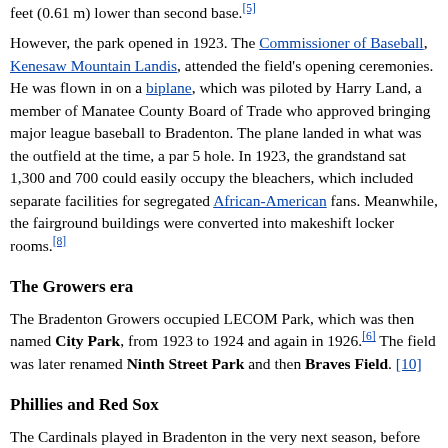feet (0.61 m) lower than second base.[5]
However, the park opened in 1923. The Commissioner of Baseball, Kenesaw Mountain Landis, attended the field's opening ceremonies. He was flown in on a biplane, which was piloted by Harry Land, a member of Manatee County Board of Trade who approved bringing major league baseball to Bradenton. The plane landed in what was the outfield at the time, a par 5 hole. In 1923, the grandstand sat 1,300 and 700 could easily occupy the bleachers, which included separate facilities for segregated African-American fans. Meanwhile, the fairground buildings were converted into makeshift locker rooms.[8]
The Growers era
The Bradenton Growers occupied LECOM Park, which was then named City Park, from 1923 to 1924 and again in 1926.[6] The field was later renamed Ninth Street Park and then Braves Field.[10]
Phillies and Red Sox
The Cardinals played in Bradenton in the very next season, before leaving for Stockton, California, in 1925. However, they were replaced by the Philadelphia Phillies, who played in the park until